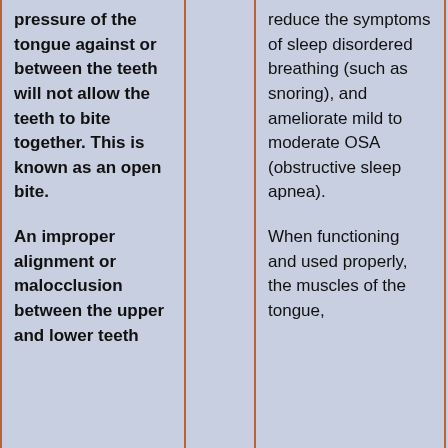pressure of the tongue against or between the teeth will not allow the teeth to bite together. This is known as an open bite.
An improper alignment or malocclusion between the upper and lower teeth
reduce the symptoms of sleep disordered breathing (such as snoring), and ameliorate mild to moderate OSA (obstructive sleep apnea).
When functioning and used properly, the muscles of the tongue, the tongue,